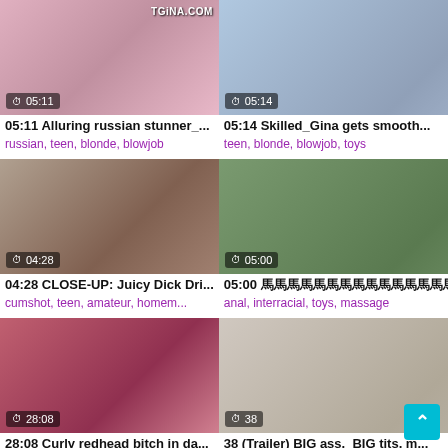[Figure (screenshot): Video thumbnail row 1 left - duration 05:11, watermark TGiNA.COM]
05:11 Alluring russian stunner_...
russian, teen, blonde, blowjob
[Figure (screenshot): Video thumbnail row 1 right - duration 05:14, watermark TGiNA.COM]
05:14 Skilled_Gina gets smooth...
teen, blonde, blowjob, toys
[Figure (screenshot): Video thumbnail row 2 left - duration 04:28]
04:28 CLOSE-UP: Juicy Dick Dri...
cumshot, teen, amateur, homem...
[Figure (screenshot): Video thumbnail row 2 right - duration 05:00]
05:00 马马马马马马马马马马马马马马...
anal, interracial, toys, massage
[Figure (screenshot): Video thumbnail row 3 left - duration 28:08]
28:08 Curly redhead bitch in da...
latex, milf, toys, ass
[Figure (screenshot): Video thumbnail row 3 right - duration 38]
38 (Trailer) BIG ass,_BIG tits, m...
lesbian, toys, whore, big tits
[Figure (screenshot): Video thumbnail row 4 left - partial]
[Figure (screenshot): Video thumbnail row 4 right - partial]